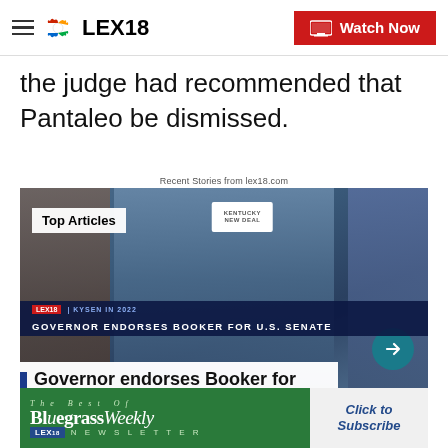LEX18 | Watch Now
the judge had recommended that Pantaleo be dismissed.
Recent Stories from lex18.com
[Figure (screenshot): News video thumbnail showing a man in a dark suit and white campaign hat labeled 'KENTUCKY NEW DEAL', with a 'Top Articles' badge overlay, a lower bar reading 'GOVERNOR ENDORSES BOOKER FOR U.S. SENATE', and a title overlay 'Governor endorses Booker for U.S. Senate']
[Figure (other): Bluegrass Weekly newsletter promotional banner with green background, italic serif logo text 'Bluegrass Weekly', LEX18 badge, 'NEWSLETTER' text, and 'Click to Subscribe' call to action]